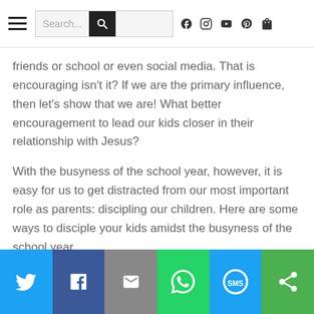Search... [navigation bar with search and social icons]
friends or school or even social media.  That is encouraging isn't it?  If we are the primary influence, then let's show that we are!  What better encouragement to lead our kids closer in their relationship with Jesus?
With the busyness of the school year, however, it is easy for us to get distracted from our most important role as parents: discipling our children. Here are some ways to disciple your kids amidst the busyness of the school year...
Share bar: Twitter, Facebook, Email, WhatsApp, SMS, Other